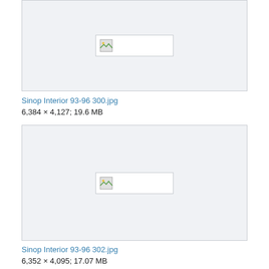[Figure (screenshot): Broken image placeholder thumbnail in a light gray bordered box, partially visible at top]
Sinop Interior 93-96 300.jpg
6,384 × 4,127; 19.6 MB
[Figure (screenshot): Broken image placeholder thumbnail in a light gray bordered box]
Sinop Interior 93-96 302.jpg
6,352 × 4,095; 17.07 MB
[Figure (screenshot): Broken image placeholder thumbnail in a light gray bordered box, partially visible at bottom]